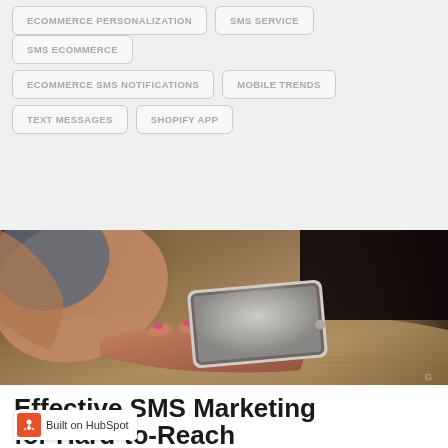ECOMMERCE PERSONALIZATION
SMS SERVICE
SMS ECOMMERCE
ECOMMERCE SMS NOTIFICATIONS
MOBILE TRENDS
TEXT MESSAGES
SHOPIFY APP
[Figure (photo): Close-up photo of hands holding a smartphone, with pink painted nails, on a wooden surface]
Effective SMS Marketing for Hard-to-Reach